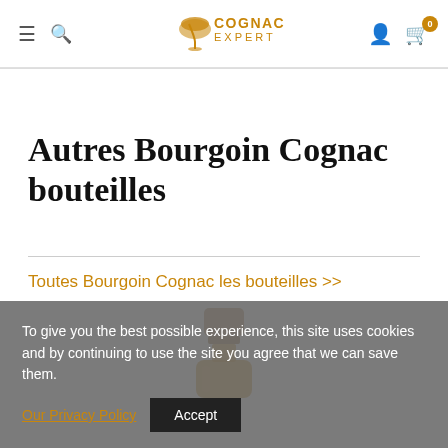Cognac Expert — navigation bar with hamburger menu, search, logo, user icon, cart (0)
Autres Bourgoin Cognac bouteilles
Toutes Bourgoin Cognac les bouteilles >>
[Figure (photo): Partial view of a Bourgoin Cognac bottle with wooden cap, amber liquid visible]
To give you the best possible experience, this site uses cookies and by continuing to use the site you agree that we can save them. Our Privacy Policy  Accept